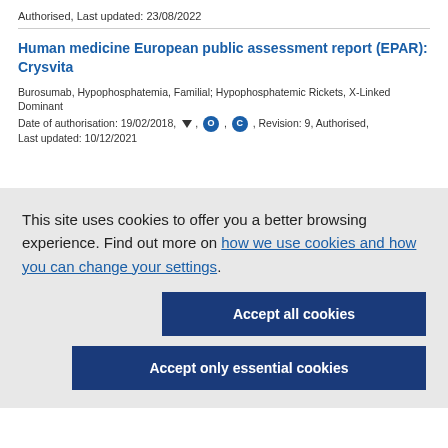Authorised, Last updated: 23/08/2022
Human medicine European public assessment report (EPAR): Crysvita
Burosumab, Hypophosphatemia, Familial; Hypophosphatemic Rickets, X-Linked Dominant
Date of authorisation: 19/02/2018, ▼, O, C, Revision: 9, Authorised,
Last updated: 10/12/2021
This site uses cookies to offer you a better browsing experience. Find out more on how we use cookies and how you can change your settings.
Accept all cookies
Accept only essential cookies